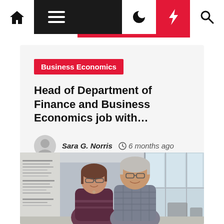Navigation bar with home, menu, moon, bolt, and search icons
Business Economics
Head of Department of Finance and Business Economics job with…
Sara G. Norris  6 months ago
[Figure (photo): Two people (a woman and a man) standing together in an office or academic building interior, smiling at the camera. Behind them is a large poster board on the left and floor-to-ceiling windows on the right.]